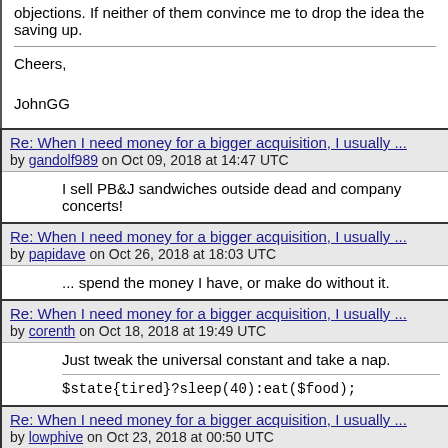objections. If neither of them convince me to drop the idea the saving up.
Cheers,
JohnGG
Re: When I need money for a bigger acquisition, I usually ...
by gandolf989 on Oct 09, 2018 at 14:47 UTC
I sell PB&J sandwiches outside dead and company concerts!
Re: When I need money for a bigger acquisition, I usually ...
by papidave on Oct 26, 2018 at 18:03 UTC
... spend the money I have, or make do without it.
Re: When I need money for a bigger acquisition, I usually ...
by corenth on Oct 18, 2018 at 19:49 UTC
Just tweak the universal constant and take a nap.
$state{tired}?sleep(40):eat($food);
Re: When I need money for a bigger acquisition, I usually ...
by lowphive on Oct 23, 2018 at 00:50 UTC
Start sharpening the guillotine.